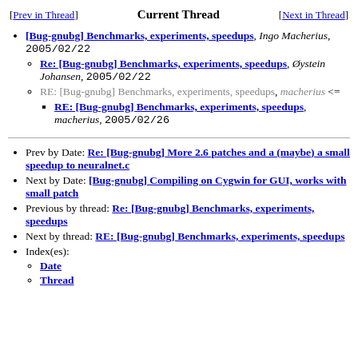[Prev in Thread]   Current Thread   [Next in Thread]
[Bug-gnubg] Benchmarks, experiments, speedups, Ingo Macherius, 2005/02/22
Re: [Bug-gnubg] Benchmarks, experiments, speedups, Øystein Johansen, 2005/02/22
RE: [Bug-gnubg] Benchmarks, experiments, speedups, macherius <=
RE: [Bug-gnubg] Benchmarks, experiments, speedups, macherius, 2005/02/26
Prev by Date: Re: [Bug-gnubg] More 2.6 patches and a (maybe) a small speedup to neuralnet.c
Next by Date: [Bug-gnubg] Compiling on Cygwin for GUI, works with small patch
Previous by thread: Re: [Bug-gnubg] Benchmarks, experiments, speedups
Next by thread: RE: [Bug-gnubg] Benchmarks, experiments, speedups
Index(es):
Date
Thread